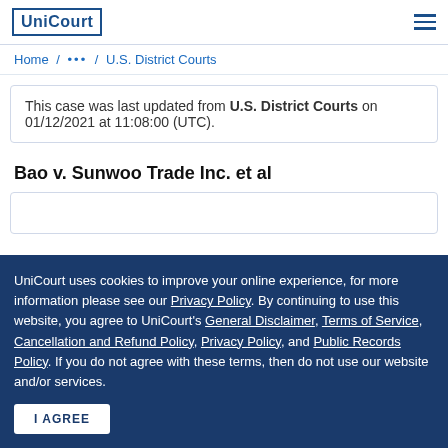UniCourt
Home / ••• / U.S. District Courts
This case was last updated from U.S. District Courts on 01/12/2021 at 11:08:00 (UTC).
Bao v. Sunwoo Trade Inc. et al
UniCourt uses cookies to improve your online experience, for more information please see our Privacy Policy. By continuing to use this website, you agree to UniCourt's General Disclaimer, Terms of Service, Cancellation and Refund Policy, Privacy Policy, and Public Records Policy. If you do not agree with these terms, then do not use our website and/or services.
I AGREE